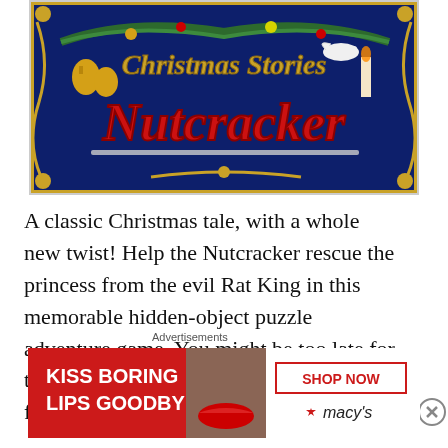[Figure (screenshot): Game title screen for 'Christmas Stories: Nutcracker' — dark blue background with gold decorative border, Christmas garland with ornaments at top, large red and gold stylized text reading 'Christmas Stories' above and 'Nutcracker' below, holiday decorations including bells, candles, and a white dove.]
A classic Christmas tale, with a whole new twist! Help the Nutcracker rescue the princess from the evil Rat King in this memorable hidden-object puzzle adventure game. You might be too late for the Christmas Ball, but you're just in time for adventure! The
Advertisements
[Figure (photo): Advertisement banner: Red background on left with white text 'KISS BORING LIPS GOODBYE', photo of a woman's face with bold red lips in center, right side shows 'SHOP NOW' button and Macy's star logo on white background.]